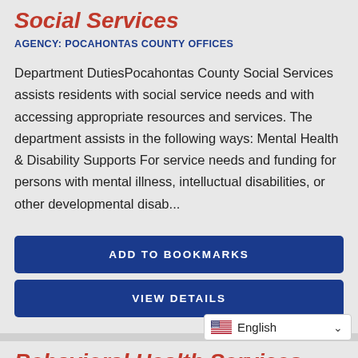Social Services
AGENCY: POCAHONTAS COUNTY OFFICES
Department DutiesPocahontas County Social Services assists residents with social service needs and with accessing appropriate resources and services. The department assists in the following ways: Mental Health & Disability Supports For service needs and funding for persons with mental illness, intellectual disabilities, or other developmental disab...
ADD TO BOOKMARKS
VIEW DETAILS
Behavioral Health Services
AGENCY: METHODIST JENNIE
English